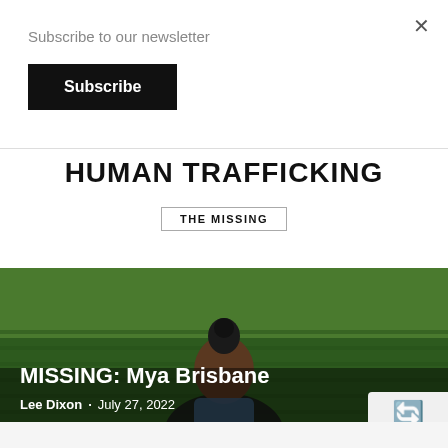Subscribe to our newsletter
Subscribe
HUMAN TRAFFICKING
THE MISSING
[Figure (photo): Person with hair in bun photographed outdoors in front of green field/crops]
MISSING: Mya Brisbane
Lee Dixon · July 27, 2022